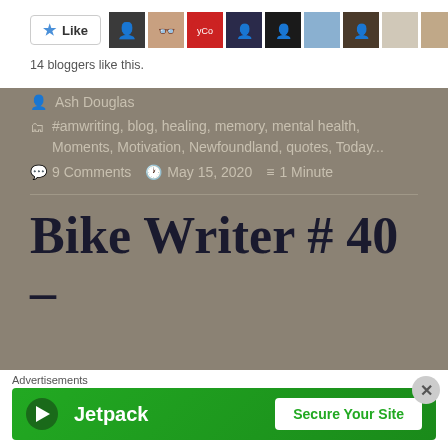[Figure (other): Like button with star icon and a strip of 10 blogger avatar thumbnails]
14 bloggers like this.
Ash Douglas
#amwriting, blog, healing, memory, mental health, Moments, Motivation, Newfoundland, quotes, Today...
9 Comments   May 15, 2020   1 Minute
Bike Writer # 40 –
Advertisements
[Figure (other): Jetpack advertisement banner with green background, Jetpack logo and 'Secure Your Site' button]